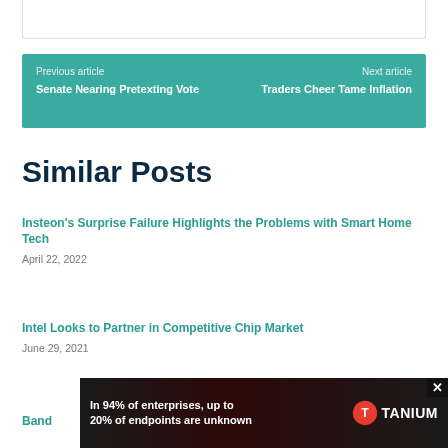[Figure (other): Partial white box at top of page]
Previous article
Senate Nearing Pretexting Vote
Next article
Traders Cheer Tame Inflation
Similar Posts
Insteon's Surprise Failure Highlights the Problems with Smart Home Tech
April 22, 2022
Intel Looks to Partner in Competitive Chip Market
June 29, 2021
Band
[Figure (other): Advertisement banner: In 94% of enterprises, up to 20% of endpoints are unknown — TANIUM logo]